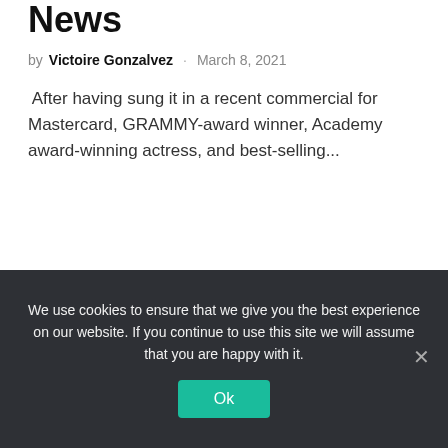News
by Victoire Gonzalvez · March 8, 2021
After having sung it in a recent commercial for Mastercard, GRAMMY-award winner, Academy award-winning actress, and best-selling...
[Figure (other): Loading spinner (circular loading indicator)]
We use cookies to ensure that we give you the best experience on our website. If you continue to use this site we will assume that you are happy with it.